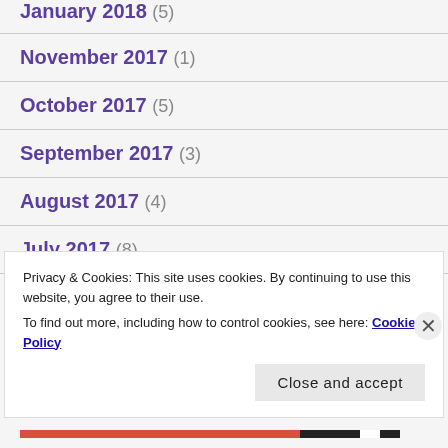January 2018 (5)
November 2017 (1)
October 2017 (5)
September 2017 (3)
August 2017 (4)
July 2017 (8)
Privacy & Cookies: This site uses cookies. By continuing to use this website, you agree to their use.
To find out more, including how to control cookies, see here: Cookie Policy